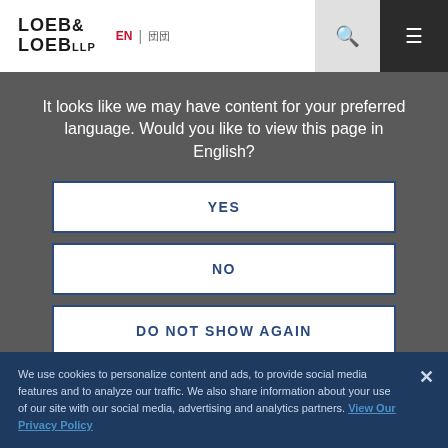[Figure (logo): Loeb & Loeb LLP logo with language selector (EN | JP), search icon, and hamburger menu on dark background]
It looks like we may have content for your preferred language. Would you like to view this page in English?
YES
NO
DO NOT SHOW AGAIN
We use cookies to personalize content and ads, to provide social media features and to analyze our traffic. We also share information about your use of our site with our social media, advertising and analytics partners. View Our Privacy Policy